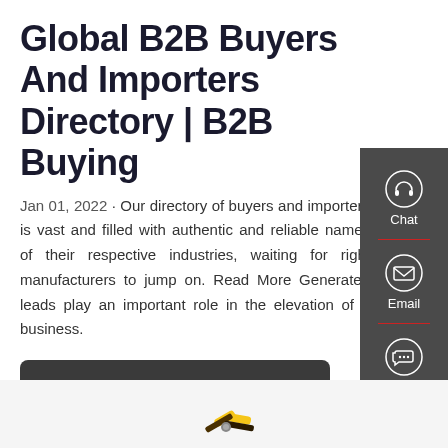Global B2B Buyers And Importers Directory | B2B Buying
Jan 01, 2022 · Our directory of buyers and importers is vast and filled with authentic and reliable names of their respective industries, waiting for right manufacturers to jump on. Read More Generated leads play an important role in the elevation of a business.
Get a Quote
[Figure (illustration): Partial view of a yellow and black mechanical tool or device at bottom of page]
[Figure (infographic): Right sidebar with dark gray background showing Chat (headset icon), Email (envelope icon), and Contact (speech bubble icon) widgets with red divider lines]